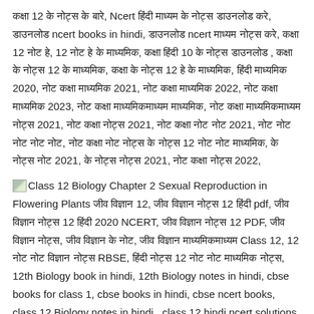कक्षा 12 के नोट्स के बारे, Ncert हिंदी माध्यम के नोट्स डाउनलोड करे, डाउनलोड ncert books in hindi, डाउनलोड ncert माध्यम नोट्स करे, कक्षा 12 नोट हे, 12 नोट हे के माध्यमिक, कक्षा हिंदी 10 के नोट्स डाउनलोड , कक्षा के नोट्स 12 के माध्यमिक, कक्षा के नोट्स 12 हे के माध्यमिक, हिंदी माध्यमिक 2020, नोट कक्षा माध्यमिक 2021, नोट कक्षा माध्यमिक 2022, नोट कक्षा माध्यमिक 2023, नोट कक्षा माध्यमिकमाध्यम माध्यमिक, नोट कक्षा माध्यमिकमाध्यम नोट्स 2021, नोट कक्षा नोट्स 2021, नोट कक्षा नोट नोट 2021, नोट नोट नोट नोट नोट, नोट कक्षा नोट नोट्स के नोट्स 12 नोट नोट माध्यमिक, के नोट्स नोट 2021, के नोट्स नोट्स 2021, नोट कक्षा नोट्स 2022,
Class 12 Biology Chapter 2 Sexual Reproduction in Flowering Plants जीव विज्ञान 12, जीव विज्ञान नोट्स 12 हिंदी pdf, जीव विज्ञान नोट्स 12 हिंदी 2020 NCERT, जीव विज्ञान नोट्स 12 PDF, जीव विज्ञान नोट्स, जीव विज्ञान के नोट, जीव विज्ञान माध्यमिकमाध्यम Class 12, 12 नोट नोट विज्ञान नोट्स RBSE, हिंदी नोट्स 12 नोट नोट माध्यमिक नोट्स, 12th Biology book in hindi, 12th Biology notes in hindi, cbse books for class 1, cbse books in hindi, cbse ncert books, class 12 Biology notes in hindi, class 12 hindi ncert solutions, Biology 2020, Biology 2021, Biology 2022, Biology book class 12, Biology book in hindi, Biology class